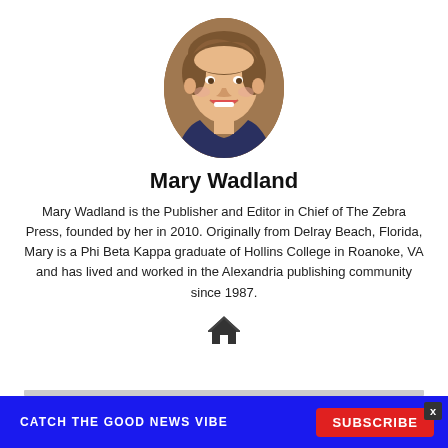[Figure (photo): Oval portrait photo of Mary Wadland, a smiling woman with short brown hair, wearing a dark jacket, photographed indoors.]
Mary Wadland
Mary Wadland is the Publisher and Editor in Chief of The Zebra Press, founded by her in 2010. Originally from Delray Beach, Florida, Mary is a Phi Beta Kappa graduate of Hollins College in Roanoke, VA and has lived and worked in the Alexandria publishing community since 1987.
[Figure (illustration): Home/house icon (font icon) centered below the bio text.]
CATCH THE GOOD NEWS VIBE   SUBSCRIBE